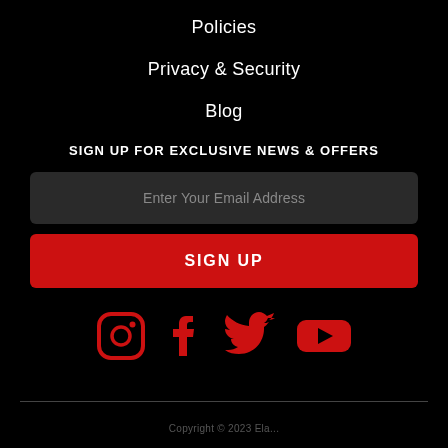Policies
Privacy & Security
Blog
SIGN UP FOR EXCLUSIVE NEWS & OFFERS
Enter Your Email Address
SIGN UP
[Figure (infographic): Social media icons: Instagram, Facebook, Twitter, YouTube — all in red on black background]
Copyright © 2023 Ela...